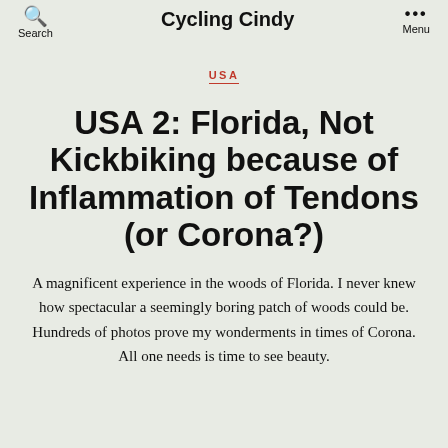Search | Cycling Cindy | Menu
USA
USA 2: Florida, Not Kickbiking because of Inflammation of Tendons (or Corona?)
A magnificent experience in the woods of Florida. I never knew how spectacular a seemingly boring patch of woods could be. Hundreds of photos prove my wonderments in times of Corona. All one needs is time to see beauty.